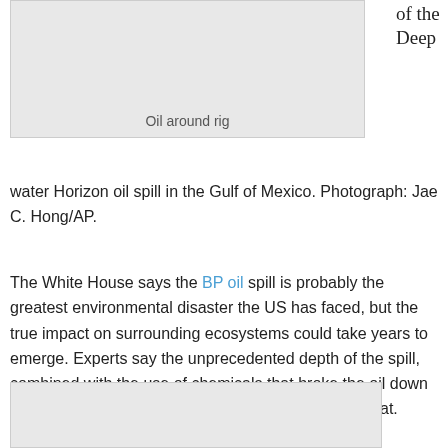[Figure (photo): Photo of oil around a rig, shown as a light grey placeholder box with caption 'Oil around rig']
of the Deepwater Horizon oil spill in the Gulf of Mexico. Photograph: Jae C. Hong/AP.
The White House says the BP oil spill is probably the greatest environmental disaster the US has faced, but the true impact on surrounding ecosystems could take years to emerge. Experts say the unprecedented depth of the spill, combined with the use of chemicals that broke the oil down before it reached the surface, pose an unknown threat.
[Figure (photo): Second photo placeholder, partially visible at the bottom of the page]